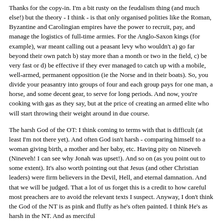Thanks for the copy-in. I'm a bit rusty on the feudalism thing (and much else!) but the theory - I think - is that only organised polities like the Roman, Byzantine and Carolingian empires have the power to recruit, pay, and manage the logistics of full-time armies. For the Anglo-Saxon kings (for example), war meant calling out a peasant levy who wouldn't a) go far beyond their own patch b) stay more than a month or two in the field, c) be very fast or d) be effective if they ever managed to catch up with a mobile, well-armed, permanent opposition (ie the Norse and in their boats). So, you divide your peasantry into groups of four and each group pays for one man, a horse, and some decent gear, to serve for long periods. And now, you're cooking with gas as they say, but at the price of creating an armed elite who will start throwing their weight around in due course.
The harsh God of the OT: I think coming to terms with that is difficult (at least I'm not there yet). And often God isn't harsh - comparing himself to a woman giving birth, a mother and her baby, etc. Having pity on Nineveh (Nineveh! I can see why Jonah was upset!). And so on (as you point out to some extent). It's also worth pointing out that Jesus (and other Christian leaders) were firm believers in the Devil, Hell, and eternal damnation. And that we will be judged. That a lot of us forget this is a credit to how careful most preachers are to avoid the relevant texts I suspect. Anyway, I don't think the God of the NT is as pink and fluffy as he's often painted. I think He's as harsh in the NT. And as merciful